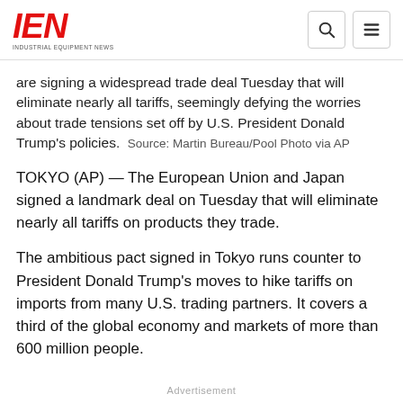IEN — Industrial Equipment News
are signing a widespread trade deal Tuesday that will eliminate nearly all tariffs, seemingly defying the worries about trade tensions set off by U.S. President Donald Trump's policies. Source: Martin Bureau/Pool Photo via AP
TOKYO (AP) — The European Union and Japan signed a landmark deal on Tuesday that will eliminate nearly all tariffs on products they trade.
The ambitious pact signed in Tokyo runs counter to President Donald Trump's moves to hike tariffs on imports from many U.S. trading partners. It covers a third of the global economy and markets of more than 600 million people.
Advertisement